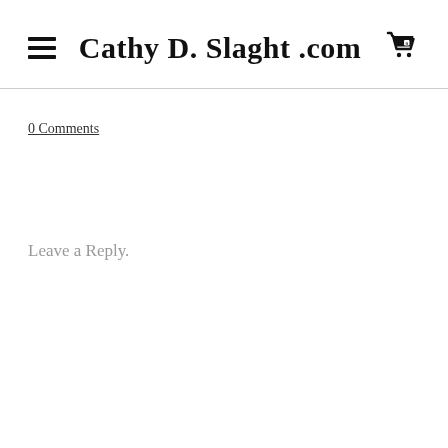Cathy D. Slaght .com
0 Comments
Leave a Reply.